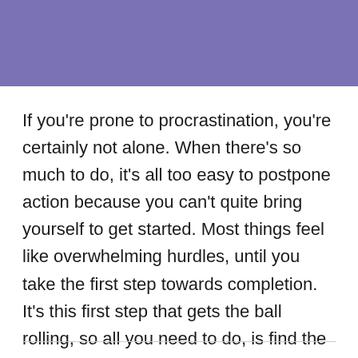[Figure (other): Purple/lavender colored banner strip across the top of the page]
If you're prone to procrastination, you're certainly not alone. When there's so much to do, it's all too easy to postpone action because you can't quite bring yourself to get started. Most things feel like overwhelming hurdles, until you take the first step towards completion. It's this first step that gets the ball rolling, so all you need to do, is find the motivation to take it.